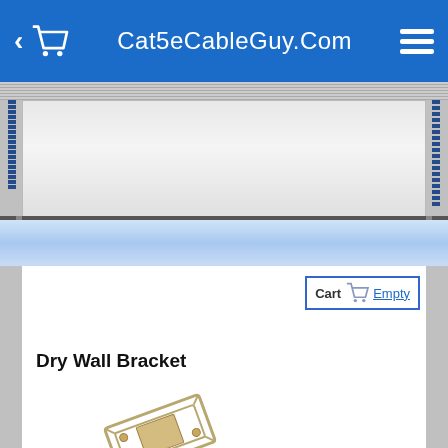Cat5eCableGuy.Com
Cart  Empty
Dry Wall Bracket
[Figure (photo): Metal dry wall bracket product photo, angled view showing rectangular frame bracket]
[Figure (photo): Metal dry wall bracket product photo, second angle view]